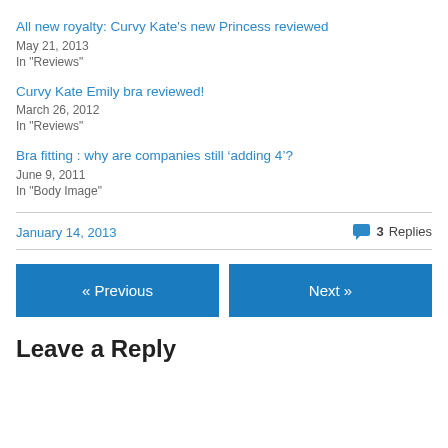All new royalty: Curvy Kate's new Princess reviewed
May 21, 2013
In "Reviews"
Curvy Kate Emily bra reviewed!
March 26, 2012
In "Reviews"
Bra fitting : why are companies still ‘adding 4’?
June 9, 2011
In "Body Image"
January 14, 2013
3 Replies
« Previous
Next »
Leave a Reply